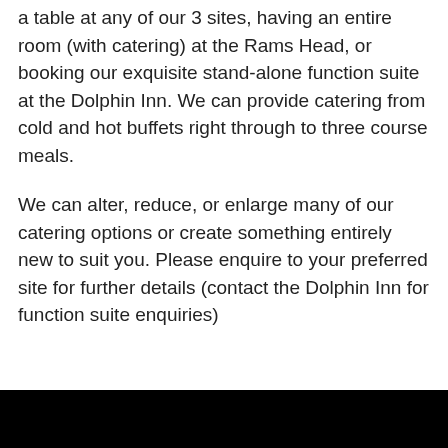a table at any of our 3 sites, having an entire room (with catering) at the Rams Head, or booking our exquisite stand-alone function suite at the Dolphin Inn. We can provide catering from cold and hot buffets right through to three course meals.
We can alter, reduce, or enlarge many of our catering options or create something entirely new to suit you. Please enquire to your preferred site for further details (contact the Dolphin Inn for function suite enquiries)